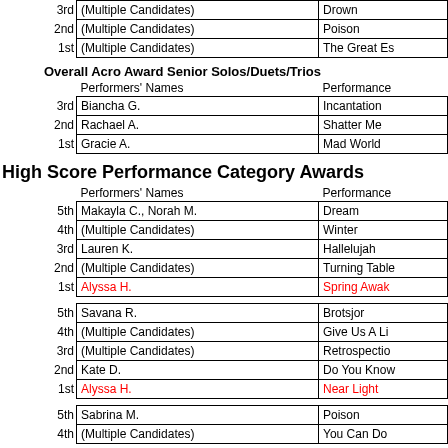| Rank | Performers' Names | Performance |
| --- | --- | --- |
| 3rd | (Multiple Candidates) | Drown |
| 2nd | (Multiple Candidates) | Poison |
| 1st | (Multiple Candidates) | The Great Es |
Overall Acro Award Senior Solos/Duets/Trios
| Rank | Performers' Names | Performance |
| --- | --- | --- |
| 3rd | Biancha G. | Incantation |
| 2nd | Rachael A. | Shatter Me |
| 1st | Gracie A. | Mad World |
High Score Performance Category Awards
| Rank | Performers' Names | Performance |
| --- | --- | --- |
| 5th | Makayla C., Norah M. | Dream |
| 4th | (Multiple Candidates) | Winter |
| 3rd | Lauren K. | Hallelujah |
| 2nd | (Multiple Candidates) | Turning Table |
| 1st | Alyssa H. | Spring Awak |
| Rank | Performers' Names | Performance |
| --- | --- | --- |
| 5th | Savana R. | Brotsjor |
| 4th | (Multiple Candidates) | Give Us A Li |
| 3rd | (Multiple Candidates) | Retrospectio |
| 2nd | Kate D. | Do You Know |
| 1st | Alyssa H. | Near Light |
| Rank | Performers' Names | Performance |
| --- | --- | --- |
| 5th | Sabrina M. | Poison |
| 4th | (Multiple Candidates) | You Can Do |